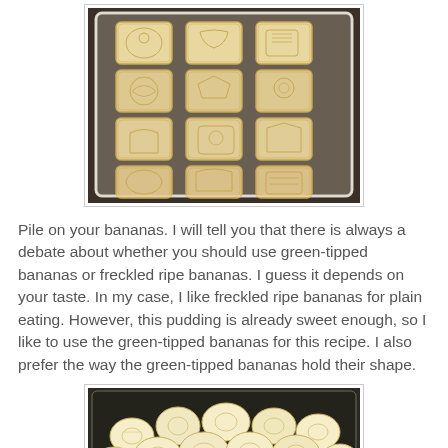[Figure (photo): Square decorated cookies/biscuits arranged in a glass baking dish on a dark granite countertop. The cookies have embossed designs on top.]
Pile on your bananas. I will tell you that there is always a debate about whether you should use green-tipped bananas or freckled ripe bananas. I guess it depends on your taste. In my case, I like freckled ripe bananas for plain eating. However, this pudding is already sweet enough, so I like to use the green-tipped bananas for this recipe. I also prefer the way the green-tipped bananas hold their shape.
[Figure (photo): Sliced banana rounds piled in a glass baking dish, viewed from above.]